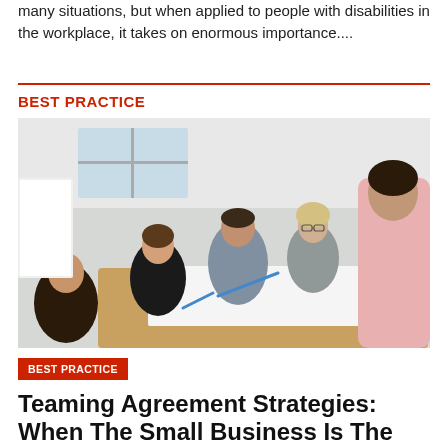many situations, but when applied to people with disabilities in the workplace, it takes on enormous importance....
BEST PRACTICE
[Figure (photo): Group of people gathered around a table, collaborating and writing on paper in what appears to be a workplace or training setting.]
BEST PRACTICE
Teaming Agreement Strategies: When The Small Business Is The